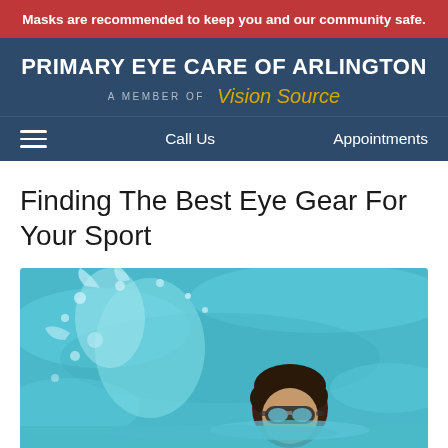Masks are recommended to keep you and our community safe.
PRIMARY EYE CARE OF ARLINGTON — A MEMBER OF Vision Source
Call Us | Appointments
Finding The Best Eye Gear For Your Sport
[Figure (photo): A swimmer emerging from a pool with water splashing, wearing swimming goggles, pool water is bright teal/blue in the background.]